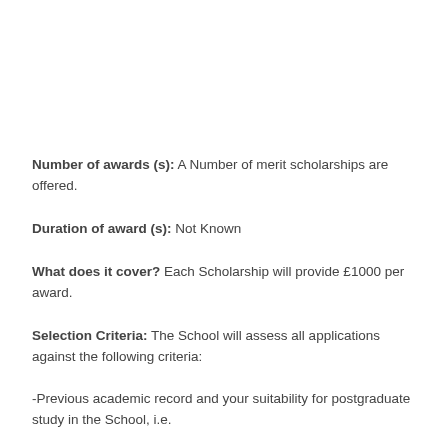Number of awards (s): A Number of merit scholarships are offered.
Duration of award (s): Not Known
What does it cover? Each Scholarship will provide £1000 per award.
Selection Criteria: The School will assess all applications against the following criteria:
-Previous academic record and your suitability for postgraduate study in the School, i.e.